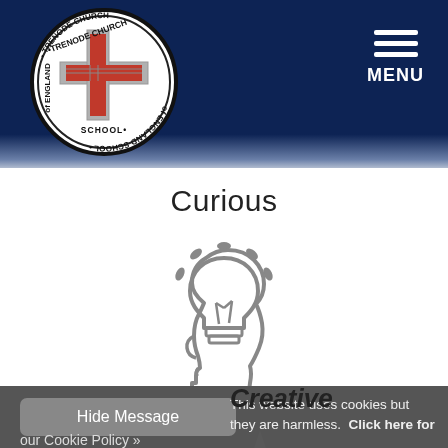[Figure (logo): Trenode Church of England School circular logo with red cross in center on white background]
MENU
Curious
[Figure (illustration): Grey icon of a human head silhouette profile with a lightbulb inside the head and rays/sparkles emanating from the top, representing curiosity and creative thinking]
Creative
This website uses cookies but they are harmless.  Click here for our Cookie Policy »
Hide Message